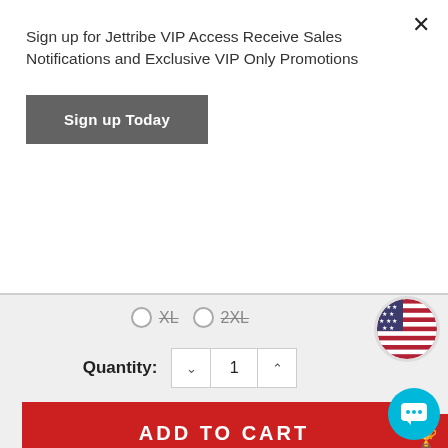Sign up for Jettribe VIP Access Receive Sales Notifications and Exclusive VIP Only Promotions
Sign up Today
XL   2XL
Quantity: 1
ADD TO CART
As low as $25.32 / MONTH *
ADD TO WISH LIST